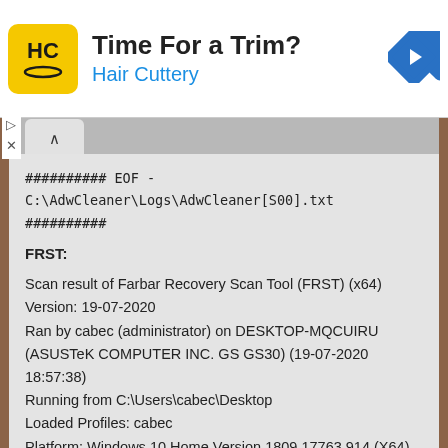[Figure (screenshot): Hair Cuttery advertisement banner with logo, 'Time For a Trim?' headline, and navigation icon]
########## EOF - C:\AdwCleaner\Logs\AdwCleaner[S00].txt
##########
FRST:
Scan result of Farbar Recovery Scan Tool (FRST) (x64) Version: 19-07-2020
Ran by cabec (administrator) on DESKTOP-MQCUIRU (ASUSTeK COMPUTER INC. GS GS30) (19-07-2020 18:57:38)
Running from C:\Users\cabec\Desktop
Loaded Profiles: cabec
Platform: Windows 10 Home Version 1809 17763.914 (X64)
Language: English (United States)
Default browser: FF
Boot Mode: Normal